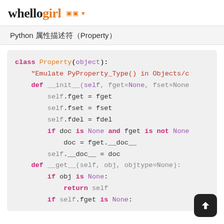hellogirl
Python 属性描述符（Property）
[Figure (screenshot): Python code block showing class Property(object) implementation with __init__ and __get__ methods, syntax highlighted in pink/purple/gray on light gray background]